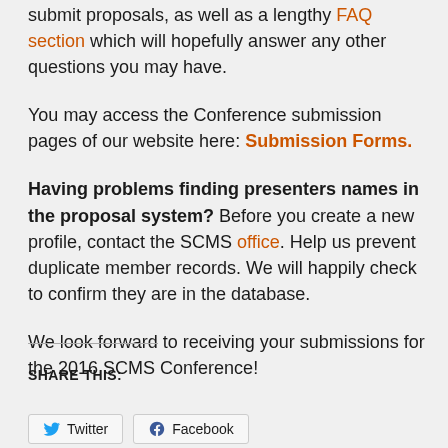submit proposals, as well as a lengthy FAQ section which will hopefully answer any other questions you may have.
You may access the Conference submission pages of our website here: Submission Forms.
Having problems finding presenters names in the proposal system?  Before you create a new profile, contact the SCMS office.  Help us prevent duplicate member records.  We will happily check to confirm they are in the database.
We look forward to receiving your submissions for the 2016 SCMS Conference!
SHARE THIS:
Twitter  Facebook